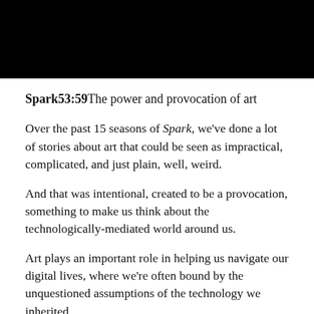[Figure (photo): Dark/black image strip at the top of the page, partially cropped photo with black background]
Spark53:59The power and provocation of art
Over the past 15 seasons of Spark, we've done a lot of stories about art that could be seen as impractical, complicated, and just plain, well, weird.
And that was intentional, created to be a provocation, something to make us think about the technologically-mediated world around us.
Art plays an important role in helping us navigate our digital lives, where we're often bound by the unquestioned assumptions of the technology we inherited.